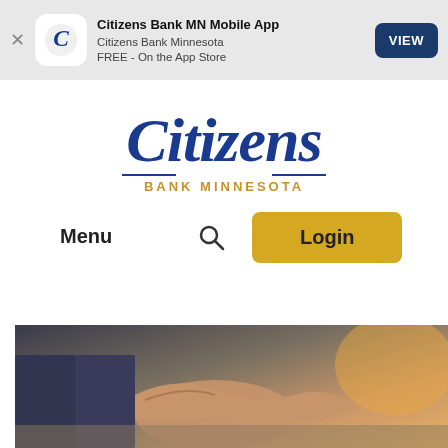[Figure (screenshot): App store banner for Citizens Bank MN Mobile App with close button, app icon, text and VIEW button]
[Figure (logo): Citizens Bank Minnesota logo in blue cursive script with BANK MINNESOTA in gold/navy below]
Menu
🔍
Login
[Figure (photo): Two people shaking hands over a desk, warm golden light in background]